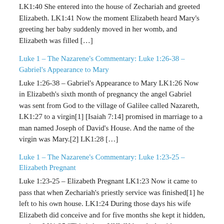LK1:40 She entered into the house of Zechariah and greeted Elizabeth. LK1:41 Now the moment Elizabeth heard Mary's greeting her baby suddenly moved in her womb, and Elizabeth was filled […]
Luke 1 – The Nazarene's Commentary: Luke 1:26-38 – Gabriel's Appearance to Mary
Luke 1:26-38 – Gabriel's Appearance to Mary LK1:26 Now in Elizabeth's sixth month of pregnancy the angel Gabriel was sent from God to the village of Galilee called Nazareth, LK1:27 to a virgin[1] [Isaiah 7:14] promised in marriage to a man named Joseph of David's House. And the name of the virgin was Mary.[2] LK1:28 […]
Luke 1 – The Nazarene's Commentary: Luke 1:23-25 – Elizabeth Pregnant
Luke 1:23-25 – Elizabeth Pregnant LK1:23 Now it came to pass that when Zechariah's priestly service was finished[1] he left to his own house. LK1:24 During those days his wife Elizabeth did conceive and for five months she kept it hidden, saying, LK1:25 "This is how YHWH has dealt with me during these days when […]
Luke 1 – The Nazarene's Commentary: Luke 1:18-22 – Struck Dumb For Disbelief